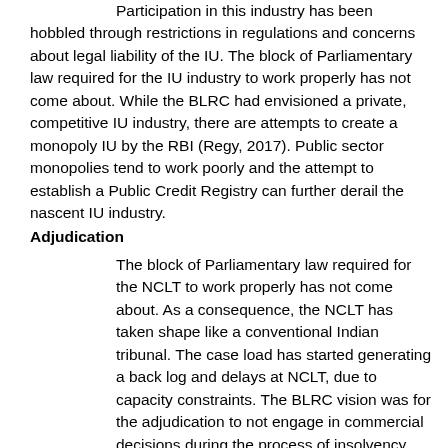Participation in this industry has been hobbled through restrictions in regulations and concerns about legal liability of the IU. The block of Parliamentary law required for the IU industry to work properly has not come about. While the BLRC had envisioned a private, competitive IU industry, there are attempts to create a monopoly IU by the RBI (Regy, 2017). Public sector monopolies tend to work poorly and the attempt to establish a Public Credit Registry can further derail the nascent IU industry.
Adjudication
The block of Parliamentary law required for the NCLT to work properly has not come about. As a consequence, the NCLT has taken shape like a conventional Indian tribunal. The case load has started generating a back log and delays at NCLT, due to capacity constraints. The BLRC vision was for the adjudication to not engage in commercial decisions during the process of insolvency resolution. NCLT, and amendments to the law, are bringing NCLT back into commercial decisions (Datta and Sengupta, 2017; Feibelman, 2018). The NCLT and other courts have